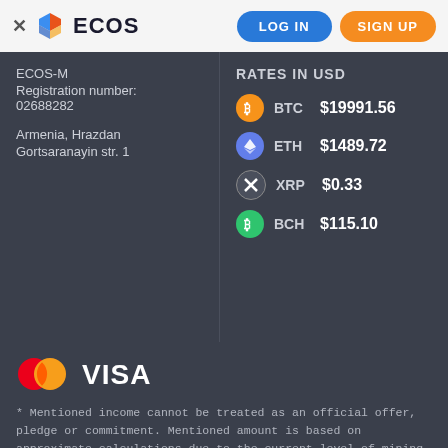ECOS  LOG IN  SIGN UP
ECOS-M
Registration number:
02688282

Armenia, Hrazdan
Gortsaranayin str. 1
RATES IN USD
BTC $19991.56
ETH $1489.72
XRP $0.33
BCH $115.10
[Figure (logo): Mastercard and Visa payment logos]
* Mentioned income cannot be treated as an official offer, pledge or commitment. Mentioned amount is based on approximate calculations due to the current level of mining market indicators and stated for the purposes of displaying the approximate efficiency.
© 2017-2022 ECOS All Rights Reserved